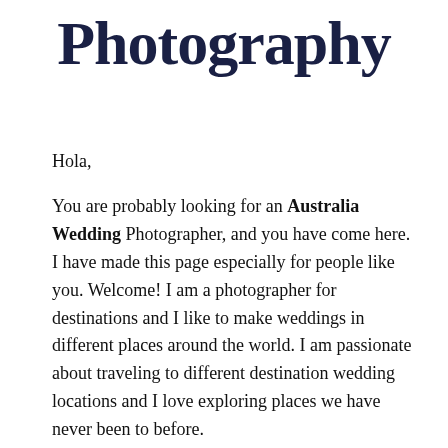Photography
Hola,
You are probably looking for an Australia Wedding Photographer, and you have come here. I have made this page especially for people like you. Welcome! I am a photographer for destinations and I like to make weddings in different places around the world. I am passionate about traveling to different destination wedding locations and I love exploring places we have never been to before.
Take a moment and check out my portfolio, how I work and what I deliver. You will notice that I like to travel and when people like you contact me, it